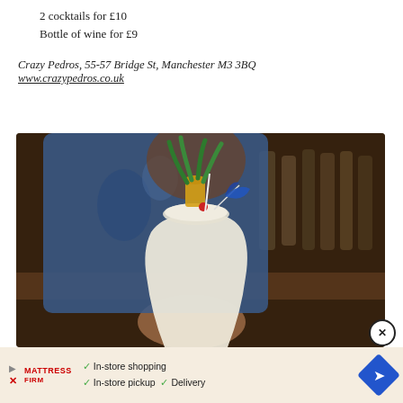2 cocktails for £10
Bottle of wine for £9
Crazy Pedros, 55-57 Bridge St, Manchester M3 3BQ
www.crazypedros.co.uk
[Figure (photo): A bartender in a colorful floral shirt holds out a tall white cocktail garnished with pineapple leaves, a cherry, and a blue cocktail umbrella, in front of a bar with bottles in the background.]
[Figure (infographic): Advertisement banner for Mattress Firm showing in-store shopping, in-store pickup, and delivery options with a blue navigation arrow icon.]